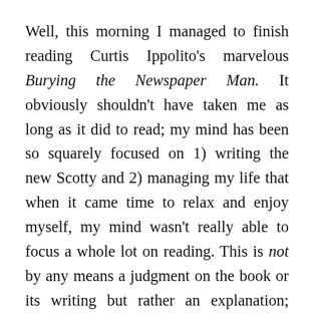Well, this morning I managed to finish reading Curtis Ippolito's marvelous Burying the Newspaper Man. It obviously shouldn't have taken me as long as it did to read; my mind has been so squarely focused on 1) writing the new Scotty and 2) managing my life that when it came time to relax and enjoy myself, my mind wasn't really able to focus a whole lot on reading. This is not by any means a judgment on the book or its writing but rather an explanation; since the pandemic started I have these bouts of time where I simply cannot focus my mind enough to read fiction. I don't know if it's